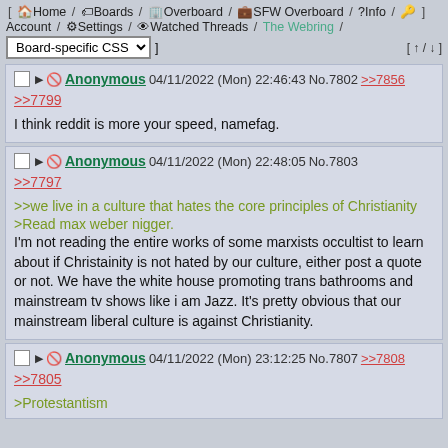[ Home / Boards / Overboard / SFW Overboard / Info / key ] Account / Settings / Watched Threads / The Webring / Board-specific CSS [ up / down ]
Anonymous 04/11/2022 (Mon) 22:46:43 No.7802 >>7856
>>7799
I think reddit is more your speed, namefag.
Anonymous 04/11/2022 (Mon) 22:48:05 No.7803
>>7797
>>we live in a culture that hates the core principles of Christianity
>Read max weber nigger.
I'm not reading the entire works of some marxists occultist to learn about if Christainity is not hated by our culture, either post a quote or not. We have the white house promoting trans bathrooms and mainstream tv shows like i am Jazz. It's pretty obvious that our mainstream liberal culture is against Christianity.
Anonymous 04/11/2022 (Mon) 23:12:25 No.7807 >>7808
>>7805
>Protestantism